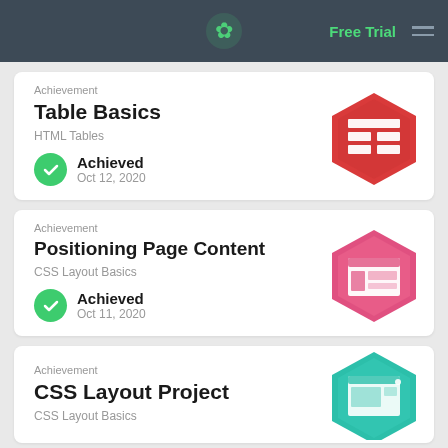Free Trial
Achievement
Table Basics
HTML Tables
Achieved
Oct 12, 2020
Achievement
Positioning Page Content
CSS Layout Basics
Achieved
Oct 11, 2020
Achievement
CSS Layout Project
CSS Layout Basics